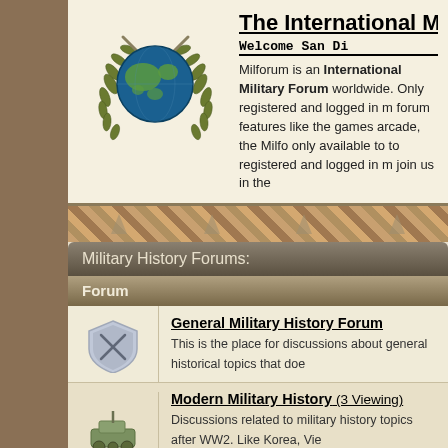[Figure (logo): Military forum logo: globe with crossed swords and laurel wreath]
The International M[ilitary Forum]
Welcome San Di[ego]
Milforum is an International Military Foru[m] worldwide. Only registered and logged in m[embers can use] forum features like the games arcade, the Milfo[rum...] only available to to registered and logged in m[embers...] join us in the[...]
Military History Forums:
Forum
[Figure (illustration): Shield with crossed swords icon]
General Military History Forum
This is the place for discussions about general historical topics that doe[s...]
[Figure (illustration): Modern military equipment icon]
Modern Military History (3 Viewing)
Discussions related to military history topics after WW2. Like Korea, Vie[tnam] etc..
[Figure (illustration): World War era military icon]
World War 1 to World War 2 Forum (5 Viewing)
Discussions about everything related to the Great World Wars (WW1 a[nd...]
[Figure (illustration): Ancient/Roman soldier helmet icon]
Older and Ancient Military History
For discussions about history topics from ancient times up to (but not inc[luding...)